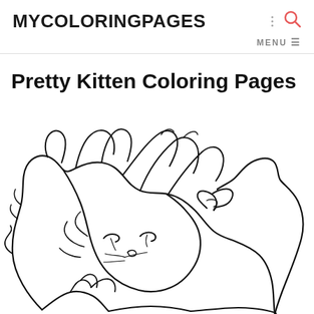MYCOLORINGPAGES
MENU
Pretty Kitten Coloring Pages
[Figure (illustration): Black and white coloring page outline of a fluffy kitten curled up, with detailed fur lines, closed eyes, paws visible, and a small bow at the neck. The kitten is drawn in a simple line art style suitable for coloring.]